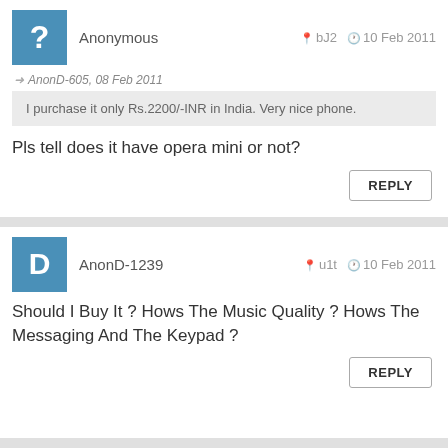Anonymous — bJ2 — 10 Feb 2011
AnonD-605, 08 Feb 2011
I purchase it only Rs.2200/-INR in India. Very nice phone.
Pls tell does it have opera mini or not?
REPLY
AnonD-1239 — u1t — 10 Feb 2011
Should I Buy It ? Hows The Music Quality ? Hows The Messaging And The Keypad ?
REPLY